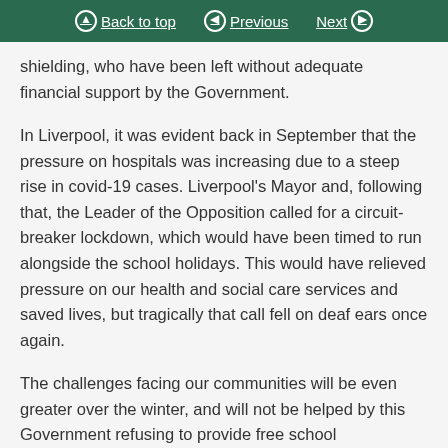Back to top | Previous | Next
shielding, who have been left without adequate financial support by the Government.
In Liverpool, it was evident back in September that the pressure on hospitals was increasing due to a steep rise in covid-19 cases. Liverpool's Mayor and, following that, the Leader of the Opposition called for a circuit-breaker lockdown, which would have been timed to run alongside the school holidays. This would have relieved pressure on our health and social care services and saved lives, but tragically that call fell on deaf ears once again.
The challenges facing our communities will be even greater over the winter, and will not be helped by this Government refusing to provide free school